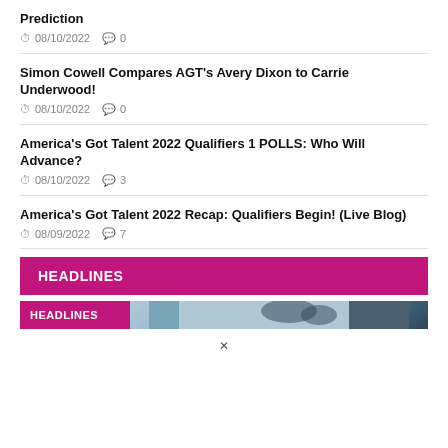Prediction
08/10/2022  0
Simon Cowell Compares AGT's Avery Dixon to Carrie Underwood!
08/10/2022  0
America's Got Talent 2022 Qualifiers 1 POLLS: Who Will Advance?
08/10/2022  3
America's Got Talent 2022 Recap: Qualifiers Begin! (Live Blog)
08/09/2022  7
HEADLINES
[Figure (photo): Headlines banner with photo partially visible]